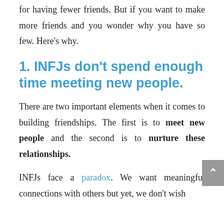for having fewer friends. But if you want to make more friends and you wonder why you have so few. Here's why.
1. INFJs don't spend enough time meeting new people.
There are two important elements when it comes to building friendships. The first is to meet new people and the second is to nurture these relationships.
INFJs face a paradox. We want meaningful connections with others but yet, we don't wish